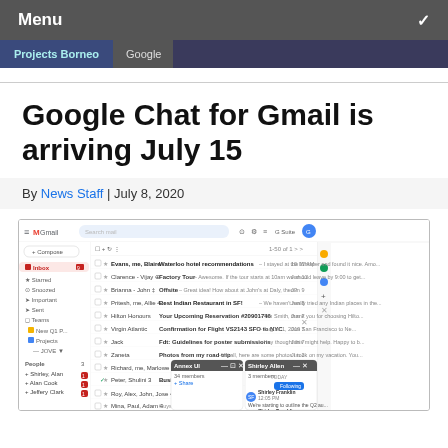Menu
[Figure (screenshot): Navigation tab bar with 'Projects Borneo' and 'Google' tabs on dark blue background]
Google Chat for Gmail is arriving July 15
By News Staff | July 8, 2020
[Figure (screenshot): Gmail interface screenshot showing inbox with email list, left sidebar navigation, compose button, and Google Chat overlay windows at bottom right]